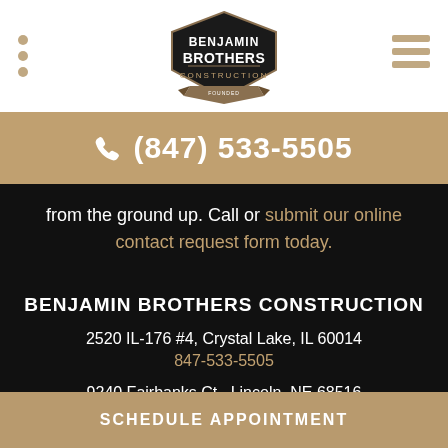[Figure (logo): Benjamin Brothers Construction logo — shield shape with company name]
(847) 533-5505
from the ground up. Call or submit our online contact request form today.
BENJAMIN BROTHERS CONSTRUCTION
2520 IL-176 #4, Crystal Lake, IL 60014
847-533-5505
9240 Fairbanks Ct., Lincoln, NE 68516
402-310-0386
SOCIAL MEDIA
SCHEDULE APPOINTMENT